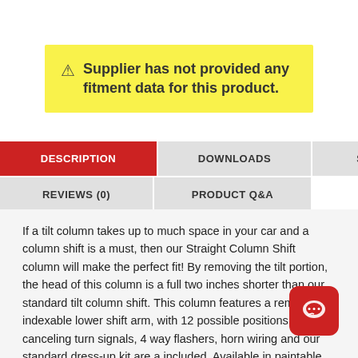⚠ Supplier has not provided any fitment data for this product.
DESCRIPTION
DOWNLOADS
SPECIFICATIONS
REVIEWS (0)
PRODUCT Q&A
If a tilt column takes up to much space in your car and a column shift is a must, then our Straight Column Shift column will make the perfect fit! By removing the tilt portion, the head of this column is a full two inches shorter than our standard tilt column shift. This column features a removable, indexable lower shift arm, with 12 possible positions. Self-canceling turn signals, 4 way flashers, horn wiring and our standard dress-up kit are all included. Available in paintable steel, chrome plated steel, or black powder coated. Will work with GM, Ford & Chrysler 3 or 4